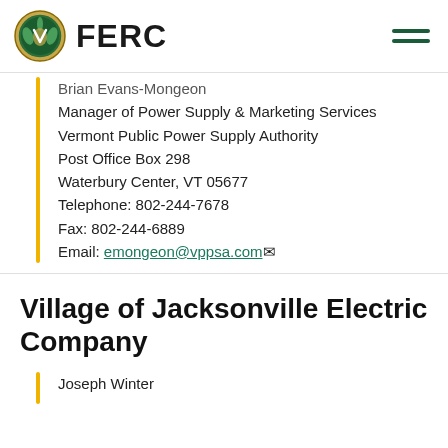FERC
Brian Evans-Mongeon
Manager of Power Supply & Marketing Services
Vermont Public Power Supply Authority
Post Office Box 298
Waterbury Center, VT 05677
Telephone: 802-244-7678
Fax: 802-244-6889
Email: emongeon@vppsa.com
Village of Jacksonville Electric Company
Joseph Winter